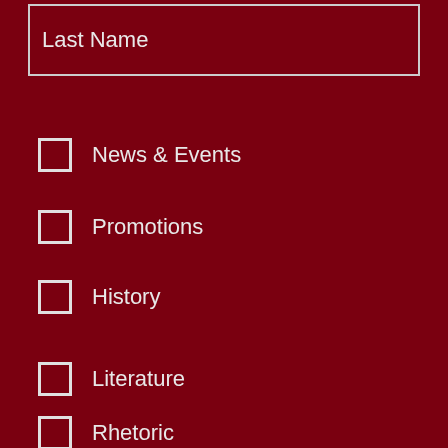Last Name
News & Events
Promotions
History
Literature
Rhetoric